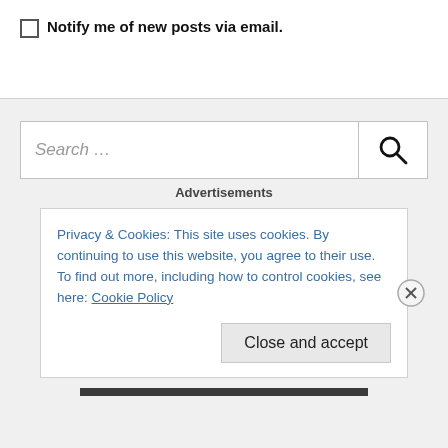Notify me of new posts via email.
[Figure (other): Search bar with text 'Search ...' and a magnifying glass icon button]
Advertisements
Privacy & Cookies: This site uses cookies. By continuing to use this website, you agree to their use.
To find out more, including how to control cookies, see here: Cookie Policy
Close and accept